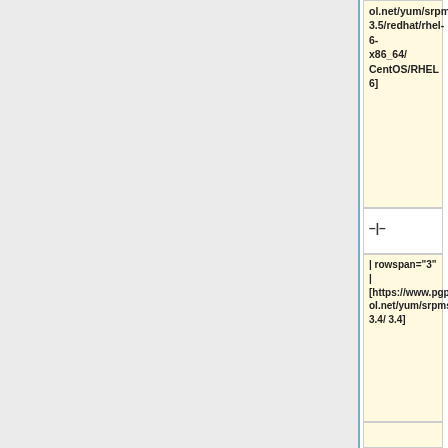| [https://www.pgpool.net/yum/srpms/3.5/redhat/rhel-6-x86_64/ CentOS/RHEL 6] |  |
| –|– |  |
| | rowspan="3" | [https://www.pgpool.net/yum/srpms/3.4/ 3.4] |  |
| | [https://www.pgpool.net/yum/srpms/3.4/redhat/rhel-8-x86_64/ CentOS/RHEL 8] |  |
| –|– |  |
| | [https://www.pgpool.net/yum/srpms/3.4/redhat/rhel-7- |  |